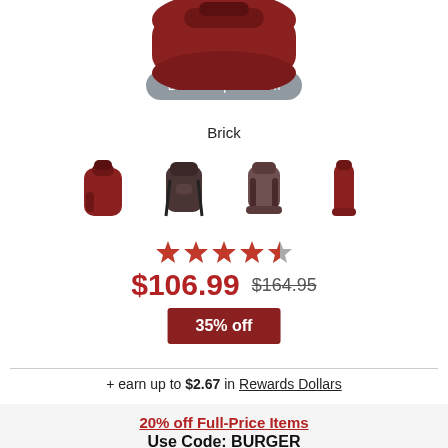[Figure (photo): Partial view of a dark red/brick colored backpack from above, cropped at top]
Double tap to zoom
Brick
[Figure (photo): Four thumbnail images of a brick-colored backpack from different angles]
[Figure (other): Star rating: approximately 4.5 out of 5 stars]
$106.99  $164.95
35% off
+ earn up to $2.67 in Rewards Dollars
20% off Full-Price Items
Use Code: BURGER
Plus up to 25% off select styles